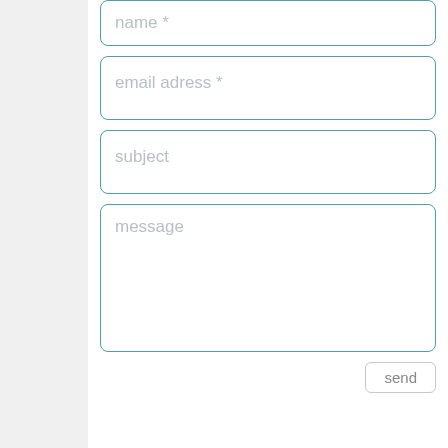[Figure (screenshot): A web contact form with four input fields (name*, email address*, subject, message) and a send button. The fields have teal/dark cyan borders and rounded corners. Placeholder text is shown in light gray. The form is displayed on a white background with light gray side margins.]